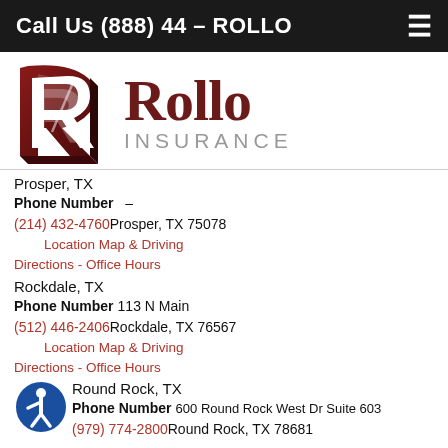Call Us (888) 44 – ROLLO
[Figure (logo): Rollo Insurance logo with stylized R mark in dark red and 'Rollo INSURANCE' text]
Prosper, TX
Phone Number
(214) 432-4760
Prosper, TX 75078
Location Map & Driving Directions - Office Hours
Rockdale, TX
Phone Number
(512) 446-2406
113 N Main
Rockdale, TX 76567
Location Map & Driving Directions - Office Hours
Round Rock, TX
Phone Number
(979) 774-2800
600 Round Rock West Dr Suite 603
Round Rock, TX 78681